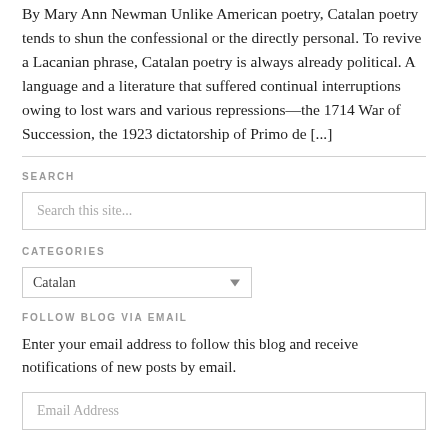By Mary Ann Newman Unlike American poetry, Catalan poetry tends to shun the confessional or the directly personal. To revive a Lacanian phrase, Catalan poetry is always already political. A language and a literature that suffered continual interruptions owing to lost wars and various repressions—the 1714 War of Succession, the 1923 dictatorship of Primo de [...]
SEARCH
Search this site...
CATEGORIES
Catalan
FOLLOW BLOG VIA EMAIL
Enter your email address to follow this blog and receive notifications of new posts by email.
Email Address